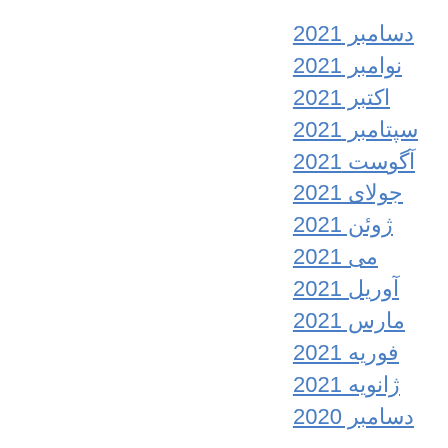دسامبر 2021
نوامبر 2021
اکتبر 2021
سپتامبر 2021
آگوست 2021
جولای 2021
ژوئن 2021
می 2021
آوریل 2021
مارس 2021
فوریه 2021
ژانویه 2021
دسامبر 2020